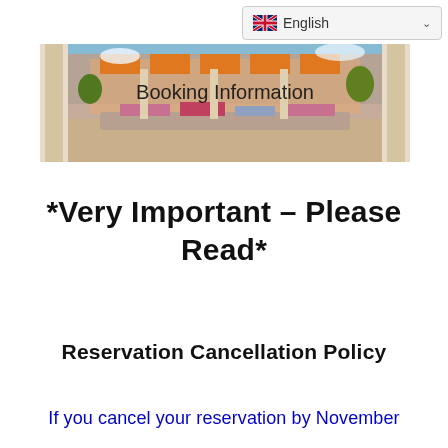English
[Figure (photo): Banner image of a hotel or resort outdoor seating area with colorful cushions, architectural columns, and blue sky, overlaid with 'Booking Information' text]
*Very Important – Please Read*
Reservation Cancellation Policy
If you cancel your reservation by November